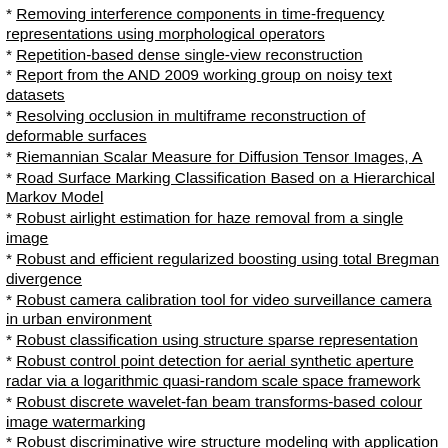Removing interference components in time-frequency representations using morphological operators
Repetition-based dense single-view reconstruction
Report from the AND 2009 working group on noisy text datasets
Resolving occlusion in multiframe reconstruction of deformable surfaces
Riemannian Scalar Measure for Diffusion Tensor Images, A
Road Surface Marking Classification Based on a Hierarchical Markov Model
Robust airlight estimation for haze removal from a single image
Robust and efficient regularized boosting using total Bregman divergence
Robust camera calibration tool for video surveillance camera in urban environment
Robust classification using structure sparse representation
Robust control point detection for aerial synthetic aperture radar via a logarithmic quasi-random scale space framework
Robust discrete wavelet-fan beam transforms-based colour image watermarking
Robust discriminative wire structure modeling with application to stent enhancement in fluoroscopy
Robust Endmember Extraction in the Presence of Anomalies